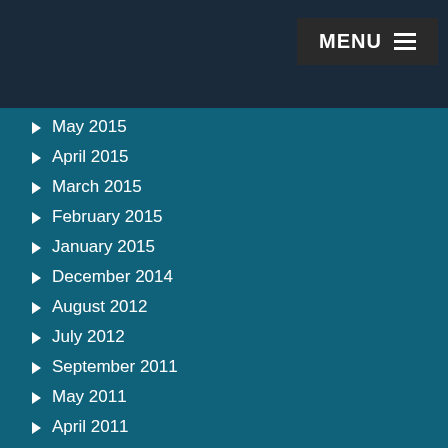MENU
May 2015
April 2015
March 2015
February 2015
January 2015
December 2014
August 2012
July 2012
September 2011
May 2011
April 2011
March 2011
February 2011
January 2011
December 2010
November 2010
October 2010
September 2010
August 2010